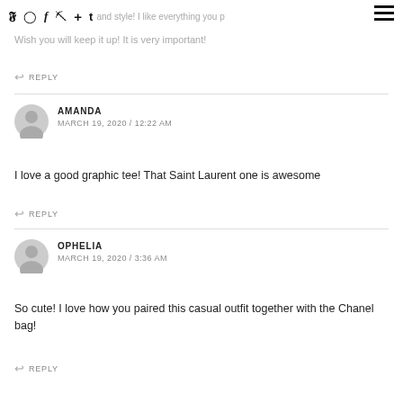social media icons and navigation
and style! I like everything you p… Wish you will keep it up! It is very important!
↩ REPLY
AMANDA
MARCH 19, 2020 / 12:22 AM
I love a good graphic tee! That Saint Laurent one is awesome
↩ REPLY
OPHELIA
MARCH 19, 2020 / 3:36 AM
So cute! I love how you paired this casual outfit together with the Chanel bag!
↩ REPLY